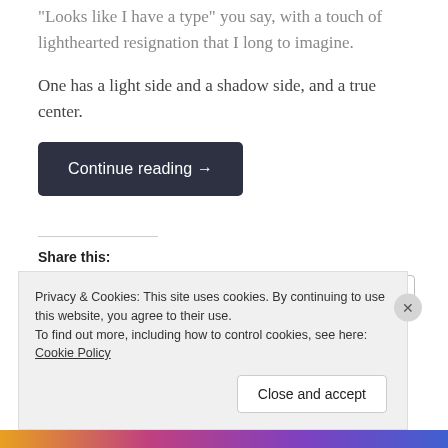“Looks like I have a type” you say, with a touch of lighthearted resignation that I long to imagine.
One has a light side and a shadow side, and a true center.
Continue reading →
Share this:
Email  Twitter  Print  Facebook
Loading...
Privacy & Cookies: This site uses cookies. By continuing to use this website, you agree to their use. To find out more, including how to control cookies, see here: Cookie Policy
Close and accept